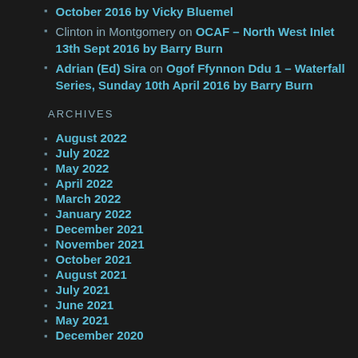October 2016 by Vicky Bluemel
Clinton in Montgomery on OCAF – North West Inlet 13th Sept 2016 by Barry Burn
Adrian (Ed) Sira on Ogof Ffynnon Ddu 1 – Waterfall Series, Sunday 10th April 2016 by Barry Burn
ARCHIVES
August 2022
July 2022
May 2022
April 2022
March 2022
January 2022
December 2021
November 2021
October 2021
August 2021
July 2021
June 2021
May 2021
December 2020